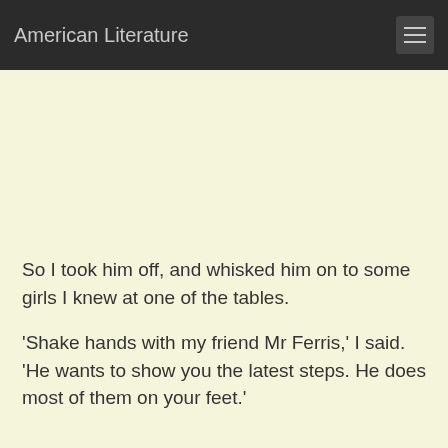American Literature
So I took him off, and whisked him on to some girls I knew at one of the tables.
'Shake hands with my friend Mr Ferris,' I said. 'He wants to show you the latest steps. He does most of them on your feet.'